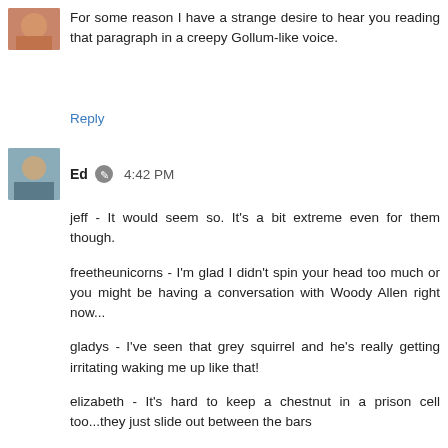For some reason I have a strange desire to hear you reading that paragraph in a creepy Gollum-like voice.
Reply
Ed  4:42 PM
jeff - It would seem so. It's a bit extreme even for them though.

freetheunicorns - I'm glad I didn't spin your head too much or you might be having a conversation with Woody Allen right now...

gladys - I've seen that grey squirrel and he's really getting irritating waking me up like that!

elizabeth - It's hard to keep a chestnut in a prison cell too...they just slide out between the bars

jaime - Nah! I was just messin' with ya. In the internet dating world if you struck out you can always go onto the favourite dating sites to get laid for the night. Now all...